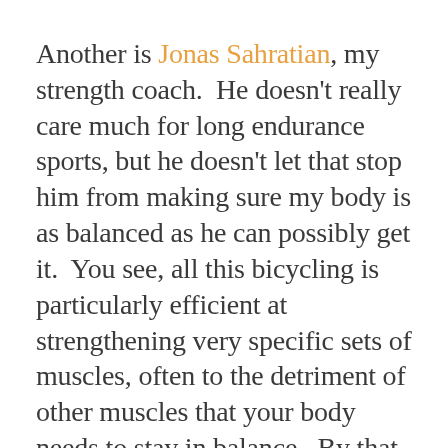Another is Jonas Sahratian, my strength coach.  He doesn't really care much for long endurance sports, but he doesn't let that stop him from making sure my body is as balanced as he can possibly get it.  You see, all this bicycling is particularly efficient at strengthening very specific sets of muscles, often to the detriment of other muscles that your body needs to stay in balance.  By that I mean you can literally strengthen some parts to the point that if you aren't careful they can tear up other body parts that aren't keeping up.  Jonas makes sure that doesn't happen, all the